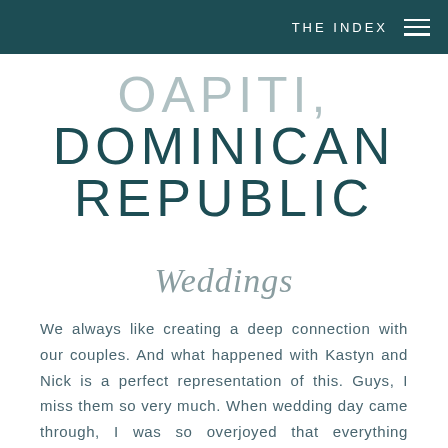THE INDEX
DOMINICAN REPUBLIC
Weddings
We always like creating a deep connection with our couples. And what happened with Kastyn and Nick is a perfect representation of this. Guys, I miss them so very much. When wedding day came through, I was so overjoyed that everything happened so wonderfully and that they got the celebration of their